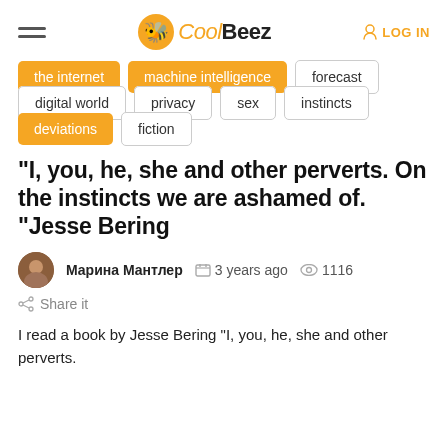CoolBeez — LOG IN
the internet
machine intelligence
forecast
digital world
privacy
sex
instincts
deviations
fiction
“I, you, he, she and other perverts. On the instincts we are ashamed of. “Jesse Bering
Марина Мантлер   3 years ago   1116
Share it
I read a book by Jesse Bering “I, you, he, she and other perverts.